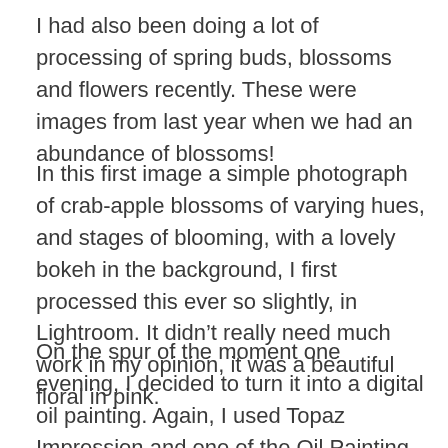I had also been doing a lot of processing of spring buds, blossoms and flowers recently. These were images from last year when we had an abundance of blossoms!
In this first image a simple photograph of crab-apple blossoms of varying hues, and stages of blooming, with a lovely bokeh in the background, I first processed this ever so slightly, in Lightroom. It didn’t really need much work in my opinion, it was a beautiful floral in pink.
On the spur of the moment one evening, I decided to turn it into a digital oil painting. Again, I used Topaz Impression and one of the Oil Painting presets as a starting point. I did a lot